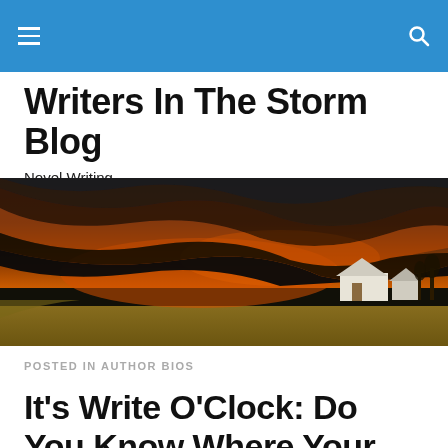Writers In The Storm Blog — navigation bar
Writers In The Storm Blog
Novel Writing
[Figure (photo): Dramatic stormy sunset sky with dark and orange-red clouds over a flat agricultural landscape with a white barn on the right, and a road on the left.]
POSTED IN AUTHOR BIOS
It's Write O'Clock: Do You Know Where Your Contacts Are?